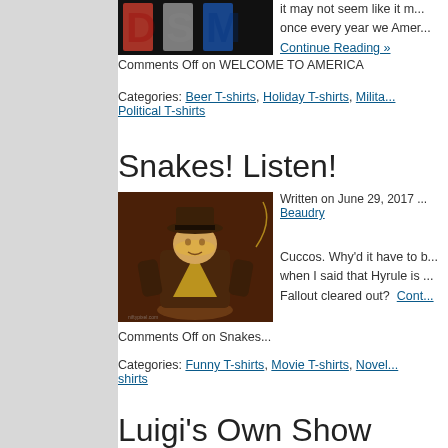[Figure (photo): Dark image with red, white and blue letter-mosaic design on black background (USA themed)]
it may not seem like it m... once every year we Amer...
Continue Reading »
Comments Off on WELCOME TO AMERICA
Categories: Beer T-shirts, Holiday T-shirts, Milita... Political T-shirts
Snakes! Listen!
[Figure (illustration): Cartoon character resembling Link from Zelda dressed as Indiana Jones, holding a whip, standing on a brown pedestal, on a dark brown background]
Written on June 29, 2017 ... Beaudry
Cuccos. Why'd it have to b... when I said that Hyrule is ... Fallout cleared out?  Cont...
Comments Off on Snakes...
Categories: Funny T-shirts, Movie T-shirts, Novel... shirts
Luigi's Own Show